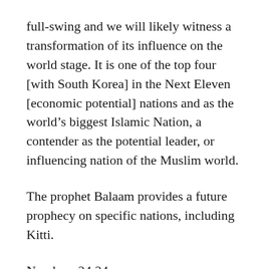full-swing and we will likely witness a transformation of its influence on the world stage. It is one of the top four [with South Korea] in the Next Eleven [economic potential] nations and as the world’s biggest Islamic Nation, a contender as the potential leader, or influencing nation of the Muslim world.
The prophet Balaam provides a future prophecy on specific nations, including Kitti.
Numbers 24:24
English Standard Version
But ships shall come from Kittim and shall afflict